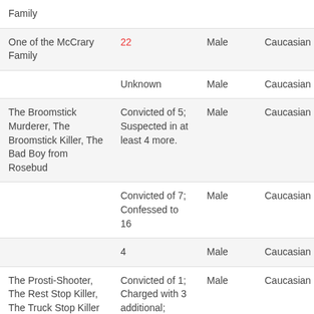| Nickname/Alias | Victims | Sex | Race |
| --- | --- | --- | --- |
| Family |  |  |  |
| One of the McCrary Family | 22 | Male | Caucasian |
|  | Unknown | Male | Caucasian |
| The Broomstick Murderer, The Broomstick Killer, The Bad Boy from Rosebud | Convicted of 5; Suspected in at least 4 more. | Male | Caucasian |
|  | Convicted of 7; Confessed to 16 | Male | Caucasian |
|  | 4 | Male | Caucasian |
| The Prosti-Shooter, The Rest Stop Killer, The Truck Stop Killer | Convicted of 1; Charged with 3 additional; Suspected of | Male | Caucasian |